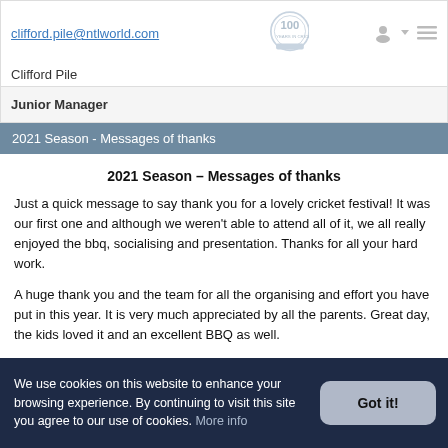clifford.pile@ntlworld.com | Clifford Pile | Junior Manager
2021 Season - Messages of thanks
2021 Season – Messages of thanks
Just a quick message to say thank you for a lovely cricket festival! It was our first one and although we weren't able to attend all of it, we all really enjoyed the bbq, socialising and presentation. Thanks for all your hard work.
A huge thank you and the team for all the organising and effort you have put in this year. It is very much appreciated by all the parents. Great day, the kids loved it and an excellent BBQ as well.
Thanks for a thoroughly lovely day today
We use cookies on this website to enhance your browsing experience. By continuing to visit this site you agree to our use of cookies. More info